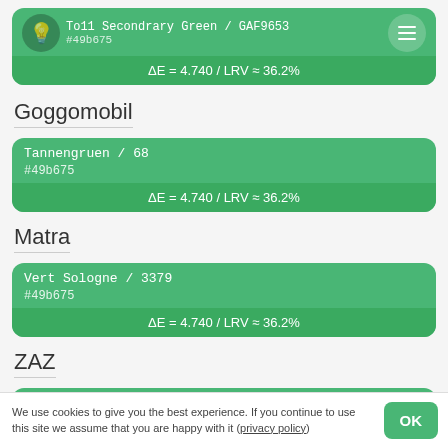[Figure (screenshot): Color match card for Toll Secondary Green / GAF9653 showing #49b675 with ΔE = 4.740 / LRV ≈ 36.2%]
Goggomobil
[Figure (infographic): Color match card for Goggomobil Tannengruen / 68, hex #49b675, ΔE = 4.740 / LRV ≈ 36.2%]
Matra
[Figure (infographic): Color match card for Matra Vert Sologne / 3379, hex #49b675, ΔE = 4.740 / LRV ≈ 36.2%]
ZAZ
[Figure (infographic): Color match card for ZAZ Murena / 337, hex #49b675, ΔE = 4.740 / LRV ≈ 36.2%]
We use cookies to give you the best experience. If you continue to use this site we assume that you are happy with it (privacy policy)